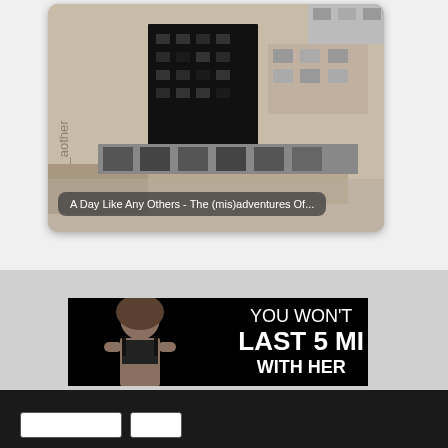[Figure (photo): Aerial black-and-white photo of an urban construction site with buildings]
A Day Like Any Others - The (mis)adventures Of...
[Figure (photo): Advertisement banner with a woman in lingerie and text 'YOU WONT LAST 5 MI WITH HER']